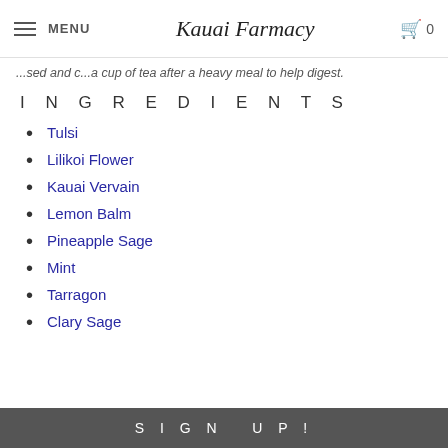MENU | Kauai Farmacy | 0
...sed and c...a cup of tea after a heavy meal to help digest.
INGREDIENTS
Tulsi
Lilikoi Flower
Kauai Vervain
Lemon Balm
Pineapple Sage
Mint
Tarragon
Clary Sage
SIGN UP!